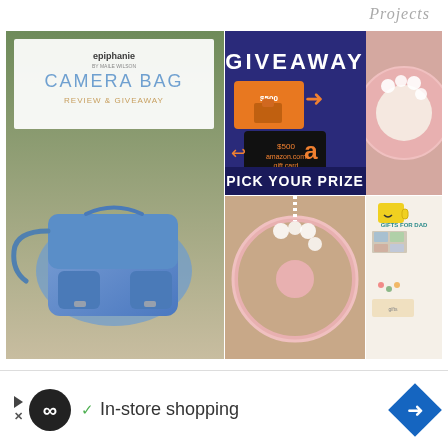Projects
[Figure (photo): Collage of blog post thumbnails: left side shows Epiphanie camera bag review and giveaway with a blue leather messenger bag; right side shows a giveaway for $500 Home Depot or Amazon gift card, a pink yarn wreath DIY, and Gifts for Dad ideas collage]
[Figure (infographic): Advertisement bar: infinity loop icon, checkmark, text 'In-store shopping', blue diamond arrow icon]